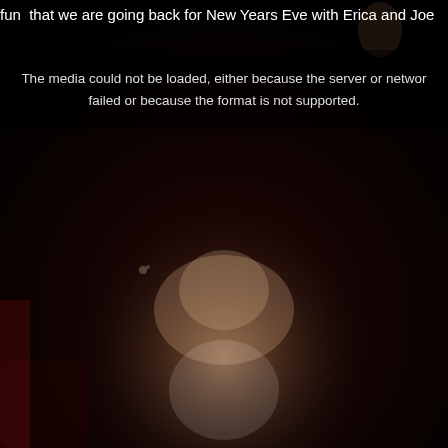fun  that we are going back for New Years Eve with Erica and Joe
[Figure (photo): Dark venue/party scene showing a person with blonde hair in a dimly lit crowd setting. The image is very dark with only subtle lighting highlights. A video player error overlay is displayed on top of the image.]
The media could not be loaded, either because the server or network failed or because the format is not supported.